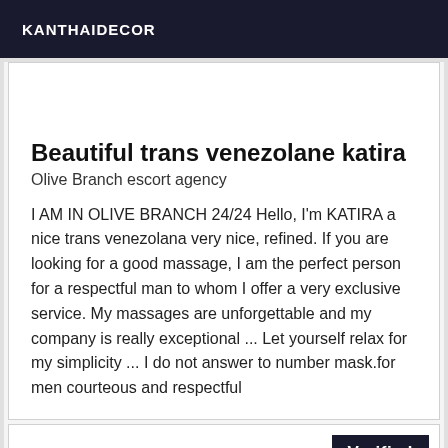KANTHAIDECOR
Beautiful trans venezolane katira
Olive Branch escort agency
I AM IN OLIVE BRANCH 24/24 Hello, I'm KATIRA a nice trans venezolana very nice, refined. If you are looking for a good massage, I am the perfect person for a respectful man to whom I offer a very exclusive service. My massages are unforgettable and my company is really exceptional ... Let yourself relax for my simplicity ... I do not answer to number mask.for men courteous and respectful
Verified